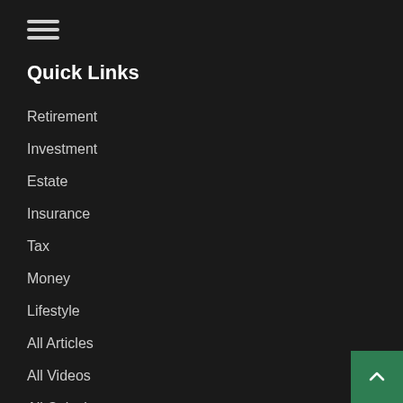[Figure (other): Hamburger menu icon with three horizontal lines]
Quick Links
Retirement
Investment
Estate
Insurance
Tax
Money
Lifestyle
All Articles
All Videos
All Calculators
All Presentations
[Figure (other): Back to top button with upward chevron arrow on green background]